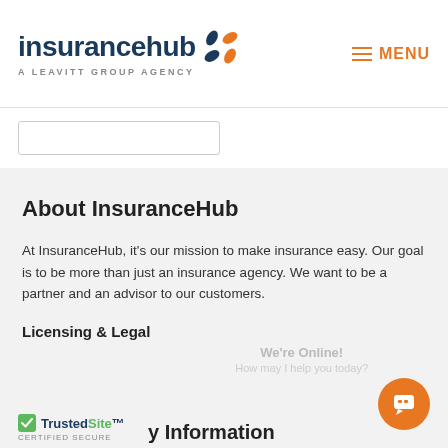[Figure (logo): InsuranceHub logo — dark blue wordmark with orange circular icon, tagline 'A LEAVITT GROUP AGENCY']
[Figure (other): Hamburger menu icon with orange MENU label]
[Figure (other): Search input box (partially visible)]
About InsuranceHub
At InsuranceHub, it's our mission to make insurance easy. Our goal is to be more than just an insurance agency. We want to be a partner and an advisor to our customers.
Licensing & Legal
[Figure (logo): TrustedSite Certified Secure badge]
y Information
We're Online! How may I help you today?
[Figure (other): Orange chat bubble icon in bottom right corner]